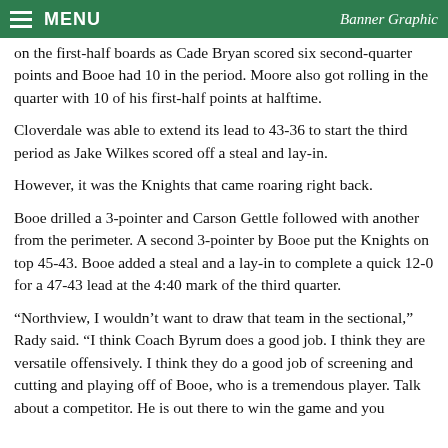MENU | Banner Graphic
on the first-half boards as Cade Bryan scored six second-quarter points and Booe had 10 in the period. Moore also got rolling in the quarter with 10 of his first-half points at halftime.
Cloverdale was able to extend its lead to 43-36 to start the third period as Jake Wilkes scored off a steal and lay-in.
However, it was the Knights that came roaring right back.
Booe drilled a 3-pointer and Carson Gettle followed with another from the perimeter. A second 3-pointer by Booe put the Knights on top 45-43. Booe added a steal and a lay-in to complete a quick 12-0 for a 47-43 lead at the 4:40 mark of the third quarter.
“Northview, I wouldn’t want to draw that team in the sectional,” Rady said. “I think Coach Byrum does a good job. I think they are versatile offensively. I think they do a good job of screening and cutting and playing off of Booe, who is a tremendous player. Talk about a competitor. He is out there to win the game and you